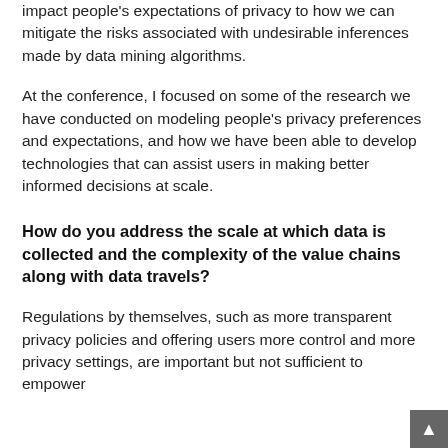impact people's expectations of privacy to how we can mitigate the risks associated with undesirable inferences made by data mining algorithms.
At the conference, I focused on some of the research we have conducted on modeling people's privacy preferences and expectations, and how we have been able to develop technologies that can assist users in making better informed decisions at scale.
How do you address the scale at which data is collected and the complexity of the value chains along with data travels?
Regulations by themselves, such as more transparent privacy policies and offering users more control and more privacy settings, are important but not sufficient to empower